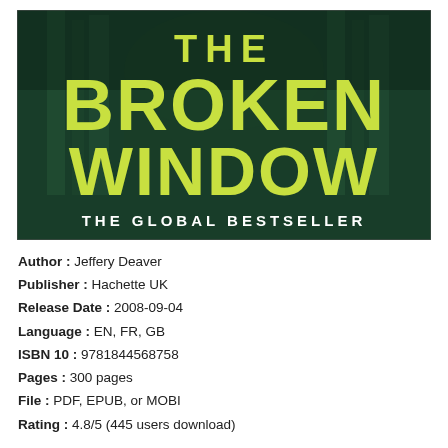[Figure (illustration): Book cover of 'The Broken Window' by Jeffery Deaver. Dark green toned background showing architectural columns/building. Large yellow-green bold text reads 'THE BROKEN WINDOW'. Below in white caps: 'THE GLOBAL BESTSELLER'.]
Author : Jeffery Deaver
Publisher : Hachette UK
Release Date : 2008-09-04
Language : EN, FR, GB
ISBN 10 : 9781844568758
Pages : 300 pages
File : PDF, EPUB, or MOBI
Rating : 4.8/5 (445 users download)